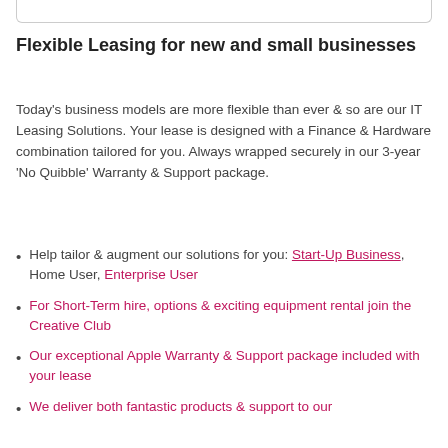Flexible Leasing for new and small businesses
Today's business models are more flexible than ever & so are our IT Leasing Solutions. Your lease is designed with a Finance & Hardware combination tailored for you. Always wrapped securely in our 3-year 'No Quibble' Warranty & Support package.
Help tailor & augment our solutions for you: Start-Up Business, Home User, Enterprise User
For Short-Term hire, options & exciting equipment rental join the Creative Club
Our exceptional Apple Warranty & Support package included with your lease
We deliver both fantastic products & support to our